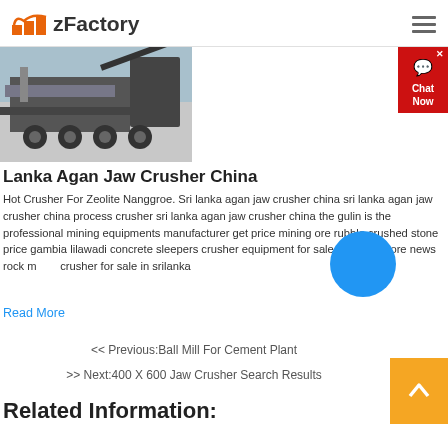zFactory
[Figure (photo): Mobile jaw crusher machine on a truck/trailer, photographed outdoors against a light blue sky.]
Lanka Agan Jaw Crusher China
Hot Crusher For Zeolite Nanggroe. Sri lanka agan jaw crusher china sri lanka agan jaw crusher china process crusher sri lanka agan jaw crusher china the gulin is the professional mining equipments manufacturer get price mining ore rubble crushed stone price gambia lilawadi concrete sleepers crusher equipment for sale 5at read more news rock mobile crusher for sale in srilanka
Read More
<< Previous:Ball Mill For Cement Plant
>> Next:400 X 600 Jaw Crusher Search Results
Related Information: